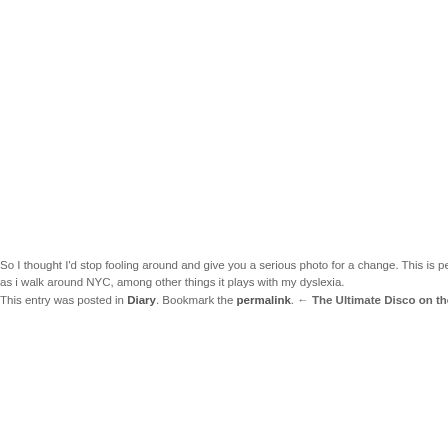So I thought I'd stop fooling around and give you a serious photo for a change. This is pe as i walk around NYC, among other things it plays with my dyslexia.
This entry was posted in Diary. Bookmark the permalink. ← The Ultimate Disco on the Beach Car